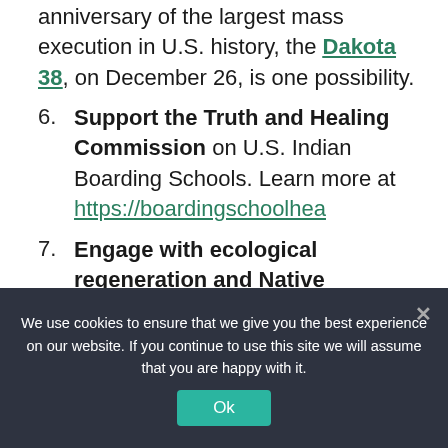anniversary of the largest mass execution in U.S. history, the Dakota 38, on December 26, is one possibility.
6. Support the Truth and Healing Commission on U.S. Indian Boarding Schools. Learn more at https://boardingschoolhea
7. Engage with ecological regeneration and Native
We use cookies to ensure that we give you the best experience on our website. If you continue to use this site we will assume that you are happy with it.